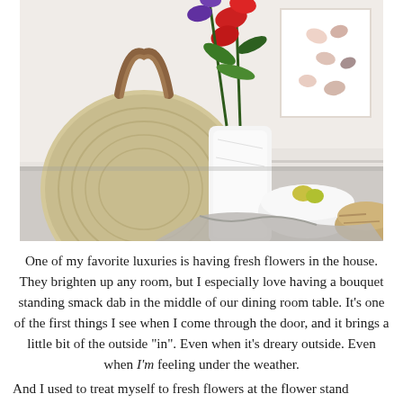[Figure (photo): A kitchen countertop scene featuring a large round woven straw tote bag with leather handles on the left, a white marble-look vase with red and purple flowers (gladiolus) in the center, and white ceramic bowls with fruit and a woven basket on the right. A framed art print with hand motifs is visible on the wall in the background.]
One of my favorite luxuries is having fresh flowers in the house. They brighten up any room, but I especially love having a bouquet standing smack dab in the middle of our dining room table. It's one of the first things I see when I come through the door, and it brings a little bit of the outside "in". Even when it's dreary outside. Even when I'm feeling under the weather.
And I used to treat myself to fresh flowers at the flower stand outside the